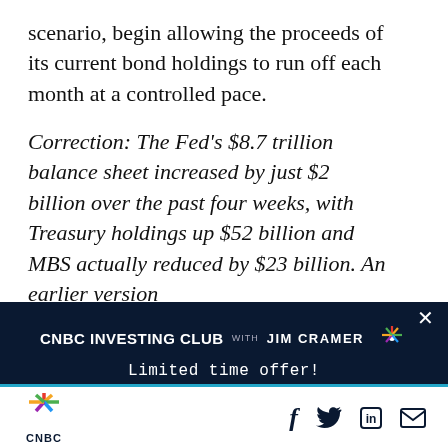scenario, begin allowing the proceeds of its current bond holdings to run off each month at a controlled pace.
Correction: The Fed's $8.7 trillion balance sheet increased by just $2 billion over the past four weeks, with Treasury holdings up $52 billion and MBS actually reduced by $23 billion. An earlier version
[Figure (other): CNBC Investing Club with Jim Cramer promotional banner. Dark navy background with CNBC peacock logo. Text: 'CNBC INVESTING CLUB WITH JIM CRAMER'. Limited time offer: 1 Year $399.99 | 2 Years $499.99. Button: BECOME A MEMBER. Close X button in top right.]
CNBC logo with social sharing icons: Facebook, Twitter, LinkedIn, Email